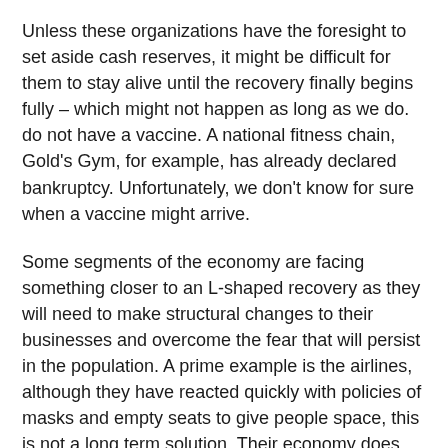Unless these organizations have the foresight to set aside cash reserves, it might be difficult for them to stay alive until the recovery finally begins fully – which might not happen as long as we do. do not have a vaccine. A national fitness chain, Gold's Gym, for example, has already declared bankruptcy. Unfortunately, we don't know for sure when a vaccine might arrive.
Some segments of the economy are facing something closer to an L-shaped recovery as they will need to make structural changes to their businesses and overcome the fear that will persist in the population. A prime example is the airlines, although they have reacted quickly with policies of masks and empty seats to give people space, this is not a long term solution. Their economy does not work with half-full planes. There are fundamental structural changes needed beyond those that were made before people were comfortable flying at the pace that we have done in the past.
Of course, not all businesses have been affected by the pandemic. Companies that make video conferencing, market food or face